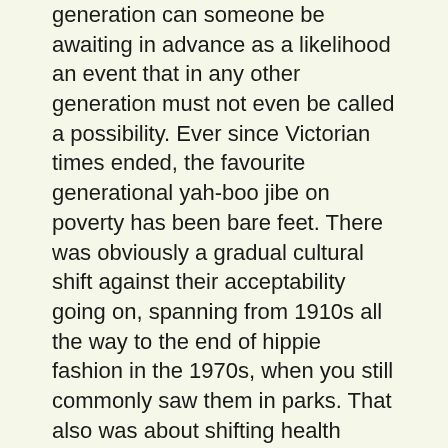generation can someone be awaiting in advance as a likelihood an event that in any other generation must not even be called a possibility. Ever since Victorian times ended, the favourite generational yah-boo jibe on poverty has been bare feet. There was obviously a gradual cultural shift against their acceptability going on, spanning from 1910s all the way to the end of hippie fashion in the 1970s, when you still commonly saw them in parks. That also was about shifting health attitudes. Their present general unacceptability is in fact an oppression, against the cause of dress freedom and its biological endorsement in autistic sensory issues. Some folks have perfectly good physically sensitive reasons to find bare feet comfortable. It is nice to